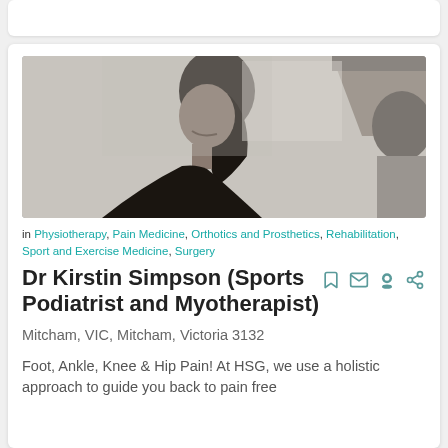[Figure (photo): Grayscale photo of Dr Kirstin Simpson smiling, shown in profile/side view inside a medical clinic setting]
in Physiotherapy, Pain Medicine, Orthotics and Prosthetics, Rehabilitation, Sport and Exercise Medicine, Surgery
Dr Kirstin Simpson (Sports Podiatrist and Myotherapist)
Mitcham, VIC, Mitcham, Victoria 3132
Foot, Ankle, Knee & Hip Pain! At HSG, we use a holistic approach to guide you back to pain free